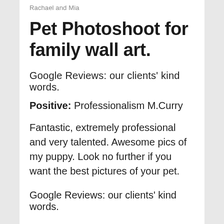Rachael and Mia
Pet Photoshoot for family wall art.
Google Reviews: our clients' kind words.
Positive: Professionalism M.Curry
Fantastic, extremely professional and very talented. Awesome pics of my puppy. Look no further if you want the best pictures of your pet.
Google Reviews: our clients' kind words.